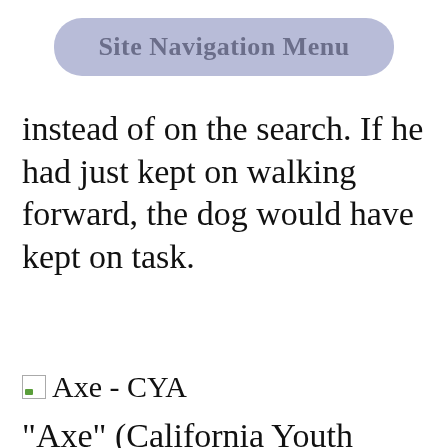Site Navigation Menu
instead of on the search. If he had just kept on walking forward, the dog would have kept on task.
[Figure (illustration): Small broken image icon followed by text label 'Axe - CYA']
"Axe" (California Youth Authority) and his partner Andy Herrera were just super all the way around. My notes